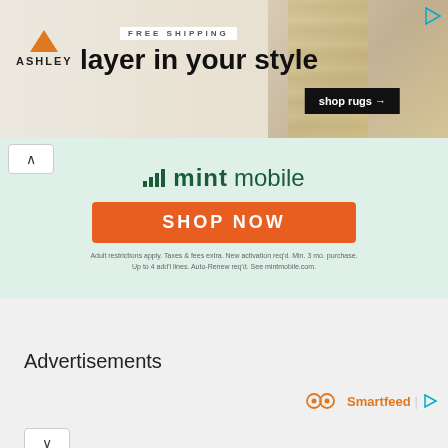[Figure (photo): Ashley Furniture advertisement banner: orange house logo, 'FREE SHIPPING' text, 'layer in your style' tagline, 'shop rugs →' button on black background, decorative rug pattern background. Video/play icon in top right.]
[Figure (photo): Mint Mobile advertisement: Mint logo in dark green with signal bars, 'SHOP NOW' orange button, fine print text about adult restrictions and activation requirements. Collapse/chevron-up button on left.]
Advertisements
[Figure (logo): Smartfeed logo with infinity/circular orange icons and play triangle icon]
Advertising
[Figure (photo): Hotels.com advertisement: 'Find your perfect somewhere' text over beach/tropical scene photo with people, Hotels.com logo, 'BOOK NOW' button in footer. Red background with close and play controls.]